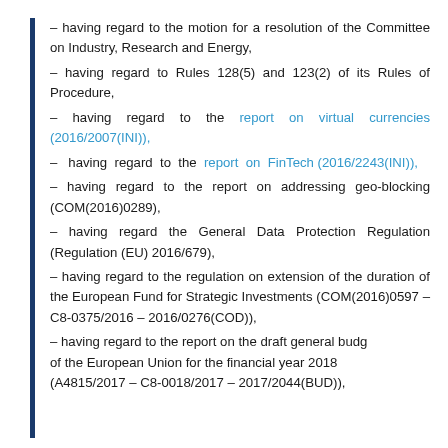– having regard to the motion for a resolution of the Committee on Industry, Research and Energy,
– having regard to Rules 128(5) and 123(2) of its Rules of Procedure,
– having regard to the report on virtual currencies (2016/2007(INI)),
– having regard to the report on FinTech (2016/2243(INI)),
– having regard to the report on addressing geo-blocking (COM(2016)0289),
– having regard the General Data Protection Regulation (Regulation (EU) 2016/679),
– having regard to the regulation on extension of the duration of the European Fund for Strategic Investments (COM(2016)0597 – C8-0375/2016 – 2016/0276(COD)),
– having regard to the report on the draft general budget of the European Union for the financial year 2018 (A4815/2017 – C8-0018/2017 – 2017/2044(BUD)),